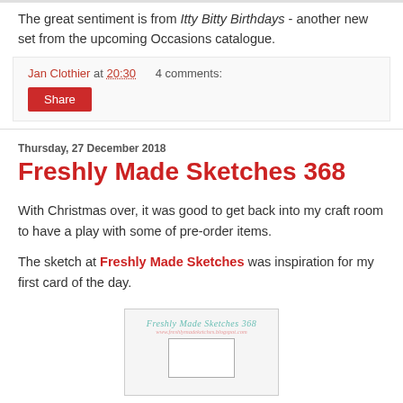The great sentiment is from Itty Bitty Birthdays - another new set from the upcoming Occasions catalogue.
Jan Clothier at 20:30   4 comments:
Share
Thursday, 27 December 2018
Freshly Made Sketches 368
With Christmas over, it was good to get back into my craft room to have a play with some of pre-order items.
The sketch at Freshly Made Sketches was inspiration for my first card of the day.
[Figure (illustration): Freshly Made Sketches 368 sketch card layout image showing logo and a rectangular card template outline]